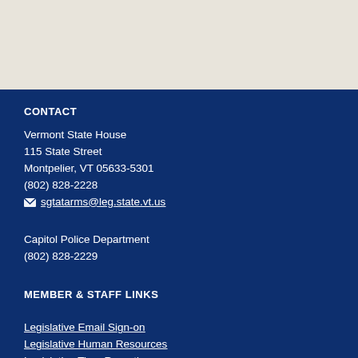CONTACT
Vermont State House
115 State Street
Montpelier, VT 05633-5301
(802) 828-2228
sgtatarms@leg.state.vt.us
Capitol Police Department
(802) 828-2229
MEMBER & STAFF LINKS
Legislative Email Sign-on
Legislative Human Resources
Legislative Time Reporting